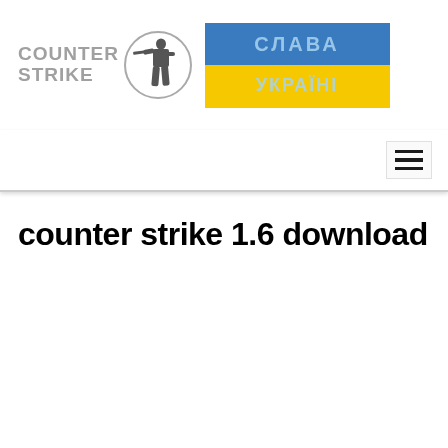[Figure (logo): Counter-Strike logo with text 'COUNTER STRIKE' in grey and a circular emblem showing a soldier silhouette]
[Figure (illustration): Ukrainian flag banner with text 'СЛАВА УКРАЇНІ' (Glory to Ukraine) in light blue letters on blue and yellow flag background]
[Figure (other): Navigation hamburger menu icon (three horizontal lines) with border box]
counter strike 1.6 download